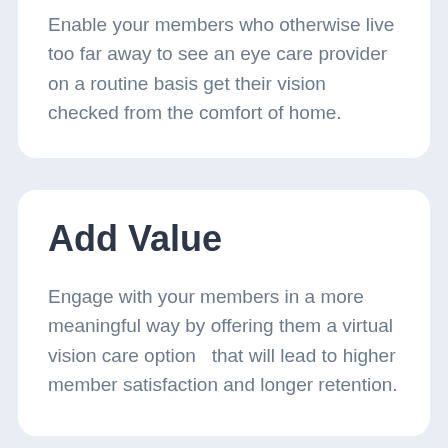Enable your members who otherwise live too far away to see an eye care provider on a routine basis get their vision checked from the comfort of home.
Add Value
Engage with your members in a more meaningful way by offering them a virtual vision care option  that will lead to higher member satisfaction and longer retention.